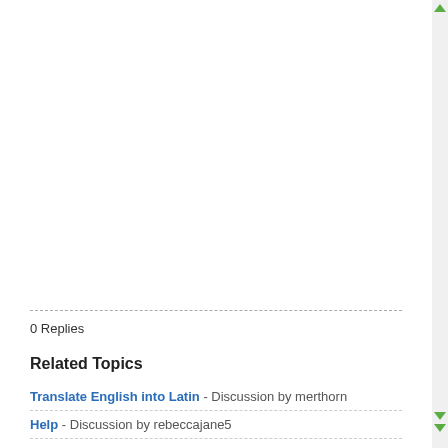0 Replies
Related Topics
Translate English into Latin - Discussion by merthorn
Help - Discussion by rebeccajane5